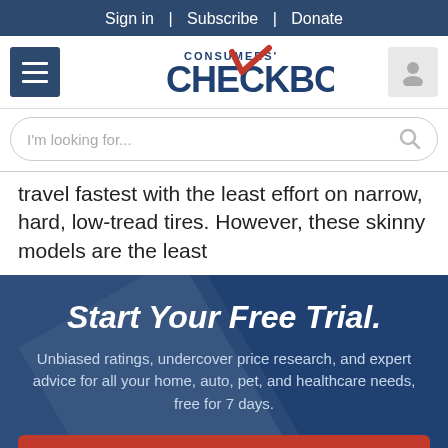Sign in | Subscribe | Donate
[Figure (logo): Consumers' Checkbook logo with red checkmark]
I'm looking for...
travel fastest with the least effort on narrow, hard, low-tread tires. However, these skinny models are the least
Start Your Free Trial.
Unbiased ratings, undercover price research, and expert advice for all your home, auto, pet, and healthcare needs, free for 7 days.
GET STARTED
NO THANKS, MAYBE LATER.